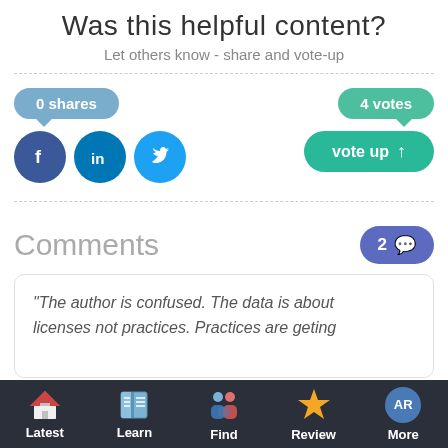Was this helpful content?
Let others know - share and vote-up
0 shares
4 votes
vote up
Comments 2
“The author is confused. The data is about licenses not practices. Practices are geting
Latest | Learn | Find | Review | More